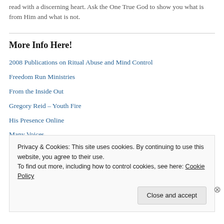read with a discerning heart. Ask the One True God to show you what is from Him and what is not.
More Info Here!
2008 Publications on Ritual Abuse and Mind Control
Freedom Run Ministries
From the Inside Out
Gregory Reid – Youth Fire
His Presence Online
Many Voices
Randy Noblitt, PhD
Ritual Abuse, Ritual Crime and Healing
Privacy & Cookies: This site uses cookies. By continuing to use this website, you agree to their use. To find out more, including how to control cookies, see here: Cookie Policy
Close and accept